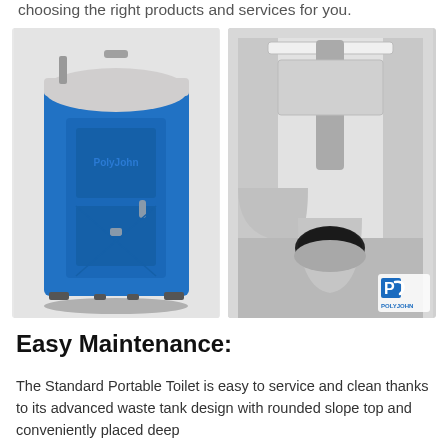choosing the right products and services for you.
[Figure (photo): Blue standard portable toilet unit exterior (left) and interior view showing toilet seat and tank (right), with PolyJohn logo in bottom right corner of interior photo]
Easy Maintenance:
The Standard Portable Toilet is easy to service and clean thanks to its advanced waste tank design with rounded slope top and conveniently placed deep